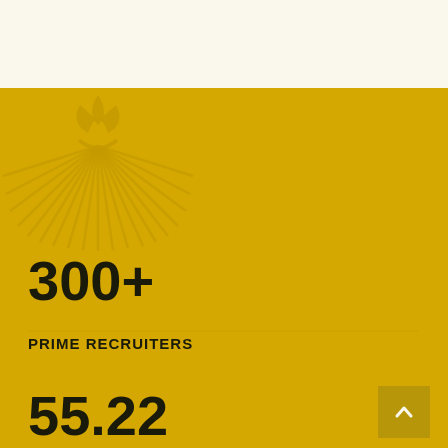[Figure (logo): Sun/flower logo with rays emanating downward, golden color on yellow background, top-left of yellow section]
300+
PRIME RECRUITERS
55.22
LPA HIGHEST CTC